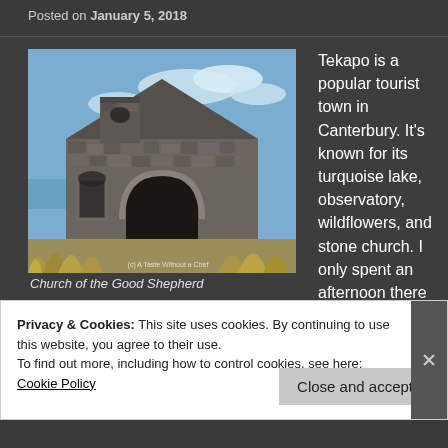Posted on January 5, 2018
[Figure (photo): Photo of the Church of the Good Shepherd, a stone church building with arched doorway, bell tower, blue sky with clouds, and golden grasses in foreground]
Church of the Good Shepherd
Tekapo is a popular tourist town in Canterbury. It's known for its turquoise lake, observatory, wildflowers, and stone church. I only spent an afternoon there on my way
Privacy & Cookies: This site uses cookies. By continuing to use this website, you agree to their use.
To find out more, including how to control cookies, see here: Cookie Policy
Close and accept